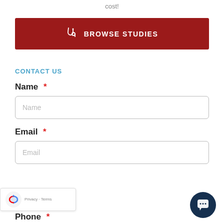access to new treatments and medications at no cost!
[Figure (other): Dark red button with stethoscope icon and text BROWSE STUDIES]
CONTACT US
Name *
Name (placeholder in form field)
Email *
Email (placeholder in form field)
Phone *
[Figure (other): reCAPTCHA badge bottom left with Privacy and Terms links]
[Figure (other): Dark navy chat bubble button bottom right]